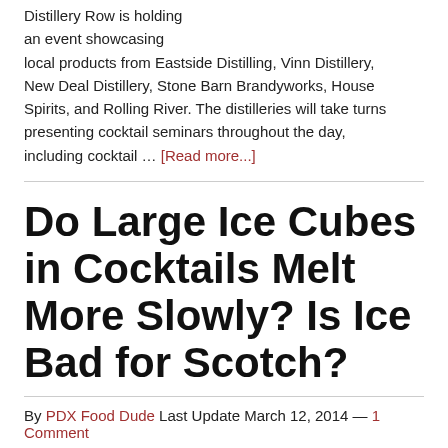Distillery Row is holding an event showcasing local products from Eastside Distilling, Vinn Distillery, New Deal Distillery, Stone Barn Brandyworks, House Spirits, and Rolling River. The distilleries will take turns presenting cocktail seminars throughout the day, including cocktail … [Read more...]
Do Large Ice Cubes in Cocktails Melt More Slowly? Is Ice Bad for Scotch?
By PDX Food Dude Last Update March 12, 2014 — 1 Comment